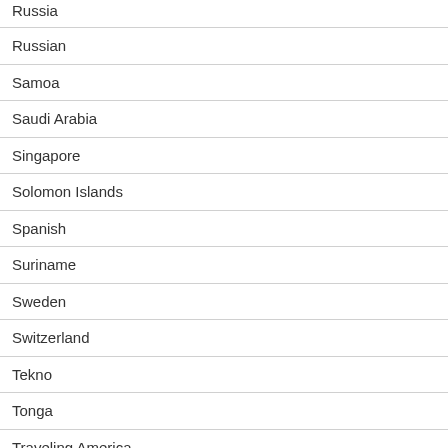Russia
Russian
Samoa
Saudi Arabia
Singapore
Solomon Islands
Spanish
Suriname
Sweden
Switzerland
Tekno
Tonga
Traveling America
Traveling Asia
Traveling Europe